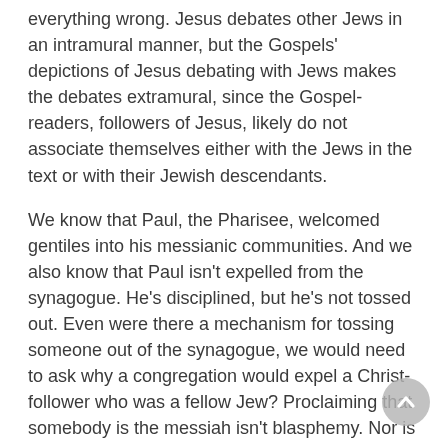everything wrong. Jesus debates other Jews in an intramural manner, but the Gospels' depictions of Jesus debating with Jews makes the debates extramural, since the Gospel-readers, followers of Jesus, likely do not associate themselves either with the Jews in the text or with their Jewish descendants.
We know that Paul, the Pharisee, welcomed gentiles into his messianic communities. And we also know that Paul isn't expelled from the synagogue. He's disciplined, but he's not tossed out. Even were there a mechanism for tossing someone out of the synagogue, we would need to ask why a congregation would expel a Christ-follower who was a fellow Jew? Proclaiming that somebody is the messiah isn't blasphemy. Nor is seeing oneself as G-d's child a blasphemy; we're all children of G-d. The bigger problem, and it's one people today often miss because it makes sense in ancient contexts and not